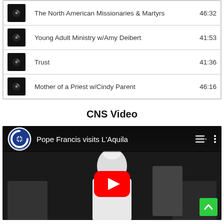|  | Title | Duration |
| --- | --- | --- |
| [icon] | The North American Missionaries & Martyrs | 46:32 |
| [icon] | Young Adult Ministry w/Amy Deibert | 41:53 |
| [icon] | Trust | 41:36 |
| [icon] | Mother of a Priest w/Cindy Parent | 46:16 |
CNS Video
[Figure (screenshot): YouTube video thumbnail showing Pope Francis visits L'Aquila, with CNS News Service logo, YouTube play button, and a back-to-top green button]